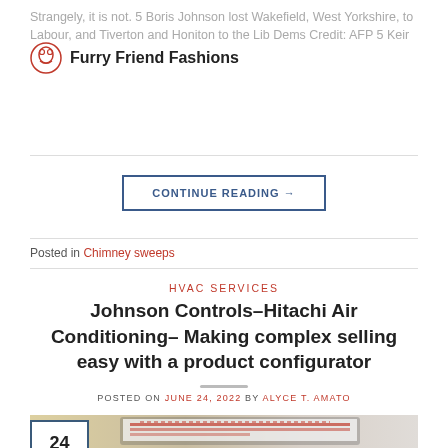Strangely, it is not. 5 Boris Johnson lost Wakefield, West Yorkshire, to Labour, and Tiverton and Honiton to the Lib Dems Credit: AFP 5 Keir Starmer and Labor [...]
Furry Friend Fashions
CONTINUE READING →
Posted in Chimney sweeps
HVAC SERVICES
Johnson Controls–Hitachi Air Conditioning– Making complex selling easy with a product configurator
POSTED ON JUNE 24, 2022 BY ALYCE T. AMATO
[Figure (photo): Laptop/tablet screen showing a red and white product configurator interface, with a date badge showing '24 Jun' in the bottom left corner]